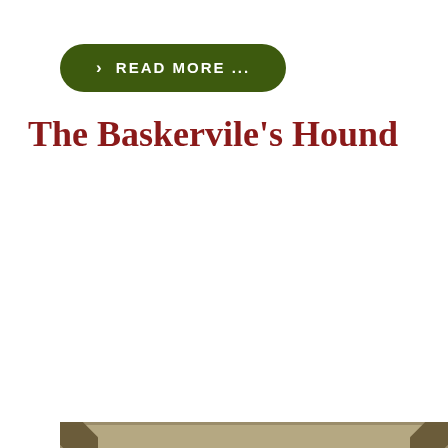> READ MORE ...
The Baskervile's Hound
[Figure (photo): A Flincloque branded fantasy miniature creature — a monstrous, multi-armed beast with a skeletal-looking body, horns, glowing eyes, and an open maw, displayed in a decorative khaki/tan frame with ornate corner pieces. The Flincloque logo appears in the upper portion of the image.]